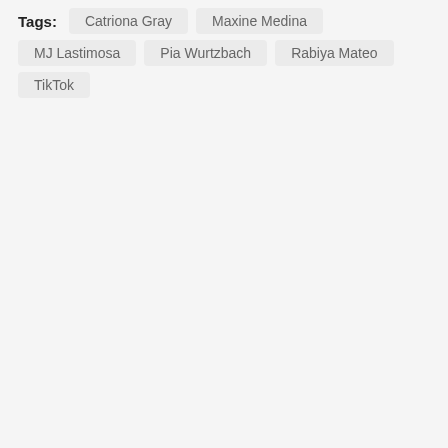Tags: Catriona Gray  Maxine Medina  MJ Lastimosa  Pia Wurtzbach  Rabiya Mateo  TikTok